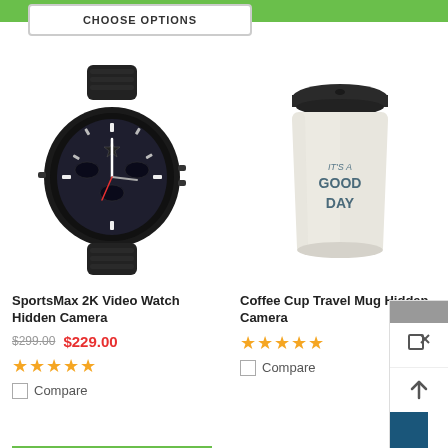[Figure (screenshot): E-commerce product listing page showing two hidden camera products]
CHOOSE OPTIONS
[Figure (photo): SportsMax 2K Video Watch Hidden Camera product image - black sports watch]
SportsMax 2K Video Watch Hidden Camera
$299.00  $229.00
★★★★★
Compare
[Figure (photo): Coffee Cup Travel Mug Hidden Camera product image - white travel mug with 'IT'S A GOOD DAY' text]
Coffee Cup Travel Mug Hidden Camera
★★★★★
Compare